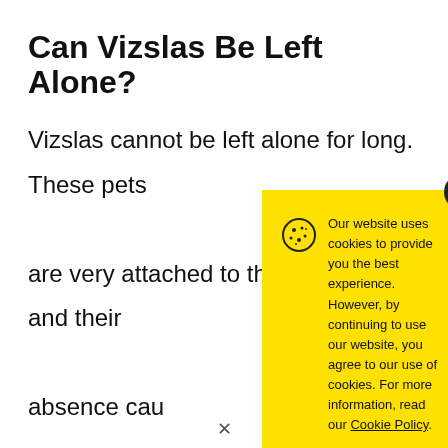Can Vizslas Be Left Alone?
Vizslas cannot be left alone for long. These pets are very attached to their owners, and their absence cau anxious. Viz hours of exe it keeps them with their hu
Our website uses cookies to provide you the best experience. However, by continuing to use our website, you agree to our use of cookies. For more information, read our Cookie Policy.